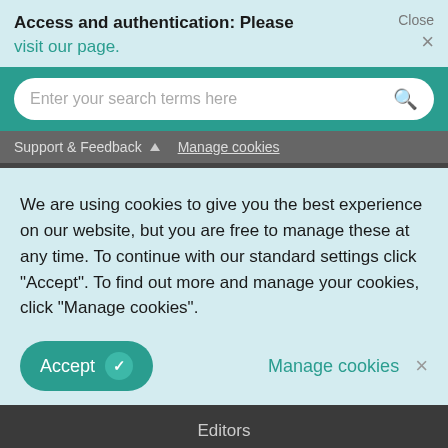Access and authentication: Please visit our page. Close ×
Enter your search terms here
Support & Feedback ▲  Manage cookies
We are using cookies to give you the best experience on our website, but you are free to manage these at any time. To continue with our standard settings click "Accept". To find out more and manage your cookies, click "Manage cookies".
Accept  ✓   Manage cookies  ×
Editors
Librarians